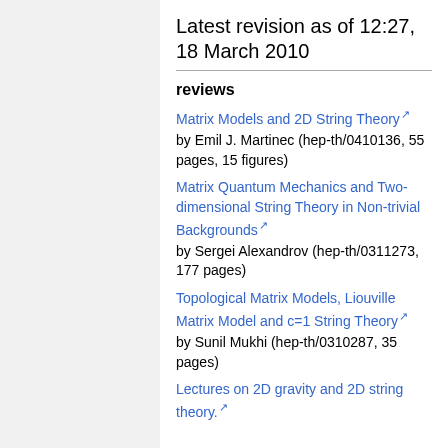Latest revision as of 12:27, 18 March 2010
reviews
Matrix Models and 2D String Theory
by Emil J. Martinec (hep-th/0410136, 55 pages, 15 figures)
Matrix Quantum Mechanics and Two-dimensional String Theory in Non-trivial Backgrounds
by Sergei Alexandrov (hep-th/0311273, 177 pages)
Topological Matrix Models, Liouville Matrix Model and c=1 String Theory
by Sunil Mukhi (hep-th/0310287, 35 pages)
Lectures on 2D gravity and 2D string theory.